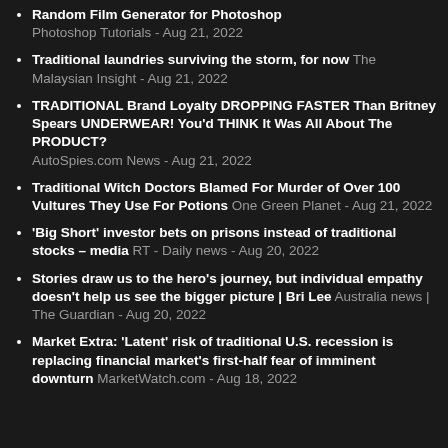Random Film Generator for Photoshop Photoshop Tutorials - Aug 21, 2022
Traditional laundries surviving the storm, for now The Malaysian Insight - Aug 21, 2022
TRADITIONAL Brand Loyalty DROPPING FASTER Than Britney Spears UNDERWEAR! You'd THINK It Was All About The PRODUCT? AutoSpies.com News - Aug 21, 2022
Traditional Witch Doctors Blamed For Murder of Over 100 Vultures They Use For Potions One Green Planet - Aug 21, 2022
'Big Short' investor bets on prisons instead of traditional stocks – media RT - Daily news - Aug 20, 2022
Stories draw us to the hero's journey, but individual empathy doesn't help us see the bigger picture | Bri Lee Australia news | The Guardian - Aug 20, 2022
Market Extra: 'Latent' risk of traditional U.S. recession is replacing financial market's first-half fear of imminent downturn MarketWatch.com - Aug 18, 2022